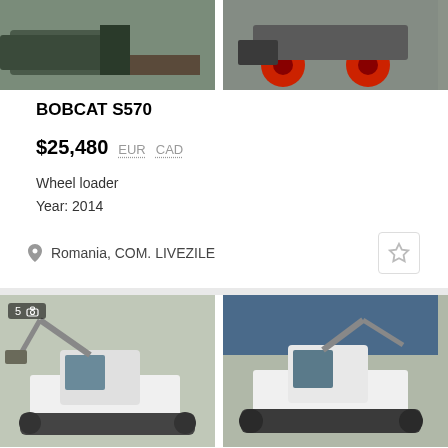[Figure (photo): Bobcat S570 wheel loader bucket close-up, left photo]
[Figure (photo): Bobcat S570 wheel loader with red wheels, right photo]
BOBCAT S570
$25,480  EUR  CAD
Wheel loader
Year: 2014
Romania, COM. LIVEZILE
[Figure (photo): Bobcat E60 mini excavator on tracks, left photo, badge shows 5 images]
[Figure (photo): Bobcat E60 mini excavator on tracks, right photo]
BOBCAT E60